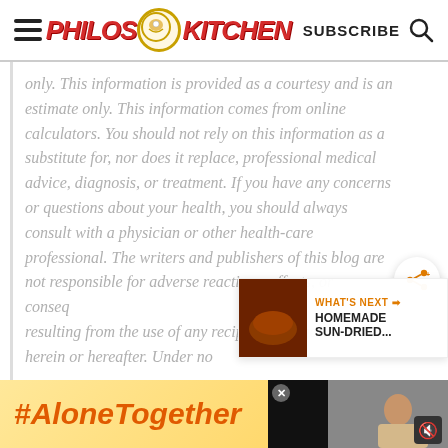[Figure (logo): Philos Kitchen blog logo with red italic text and circular emblem in center]
only. This information is provided as a courtesy and is an estimate only. This information comes from online calculators. You should not rely on this information as a substitute for, nor does it replace, professional medical advice, diagnosis, or treatment. If you have any concerns or questions about your health, you should always consult with a physician or other health-care professional. The writers and publishers of this blog are not responsible for adverse reactions, effects, or consequences resulting from the use of any recipes or suggestions herein or hereafter. Under no
WHAT'S NEXT → HOMEMADE SUN-DRIED...
#AloneTogether